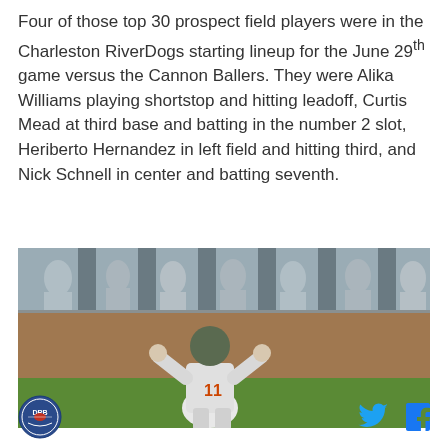Four of those top 30 prospect field players were in the Charleston RiverDogs starting lineup for the June 29th game versus the Cannon Ballers. They were Alika Williams playing shortstop and hitting leadoff, Curtis Mead at third base and batting in the number 2 slot, Heriberto Hernandez in left field and hitting third, and Nick Schnell in center and batting seventh.
[Figure (photo): Baseball player wearing jersey number 11, viewed from behind, standing on a baseball field with dirt infield and green grass, with other players/people visible in the background near a fence.]
[Figure (logo): DRB circular logo with baseball imagery]